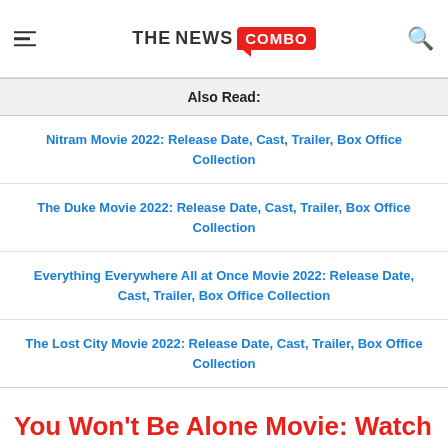THE NEWS COMBO
| Also Read: |
| --- |
| Nitram Movie 2022: Release Date, Cast, Trailer, Box Office Collection |
| The Duke Movie 2022: Release Date, Cast, Trailer, Box Office Collection |
| Everything Everywhere All at Once Movie 2022: Release Date, Cast, Trailer, Box Office Collection |
| The Lost City Movie 2022: Release Date, Cast, Trailer, Box Office Collection |
You Won't Be Alone Movie: Watch